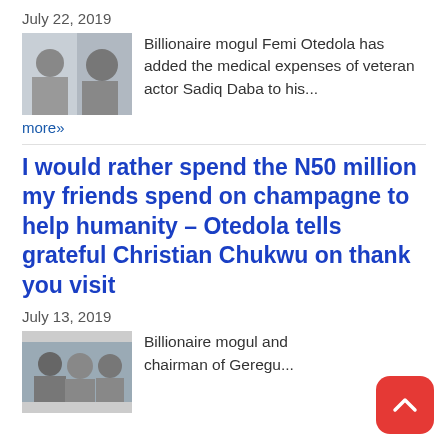July 22, 2019
Billionaire mogul Femi Otedola has added the medical expenses of veteran actor Sadiq Daba to his...
more»
I would rather spend the N50 million my friends spend on champagne to help humanity – Otedola tells grateful Christian Chukwu on thank you visit
July 13, 2019
Billionaire mogul and chairman of Geregu...